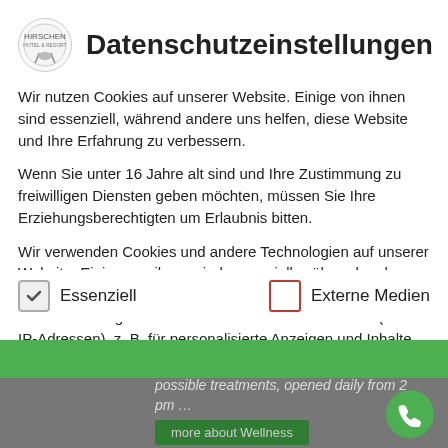Datenschutzeinstellungen
Wir nutzen Cookies auf unserer Website. Einige von ihnen sind essenziell, während andere uns helfen, diese Website und Ihre Erfahrung zu verbessern.
Wenn Sie unter 16 Jahre alt sind und Ihre Zustimmung zu freiwilligen Diensten geben möchten, müssen Sie Ihre Erziehungsberechtigten um Erlaubnis bitten.
Wir verwenden Cookies und andere Technologien auf unserer Website. Einige von ihnen sind essenziell, während andere uns helfen, diese Website und Ihre Erfahrung zu verbessern. Personenbezogene Daten können verarbeitet werden (z. B. IP-Adressen), z. B. für personalisierte Anzeigen und Inhalte oder
Essenziell
Externe Medien
possible treatments, opened daily from 2 pm …
more about Wellness